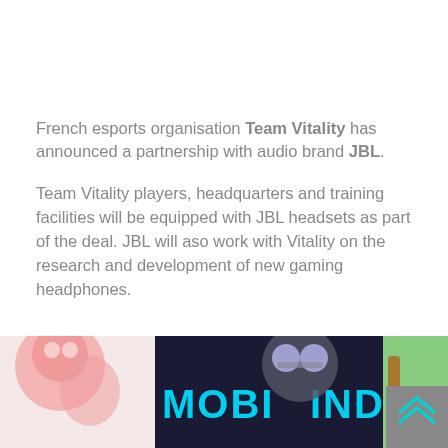French esports organisation Team Vitality has announced a partnership with audio brand JBL. Team Vitality players, headquarters and training facilities will be equipped with JBL headsets as part of the deal. JBL will aso work with Vitality on the research and development of new gaming headphones.
[Figure (screenshot): Bottom portion of a mobile gaming website banner showing colorful cartoon game characters on the left and right, with a large cyan text reading 'MOBIUIND' or similar on a dark background in the center, along with a grey scroll-to-top button with cyan chevron arrows on the right side.]